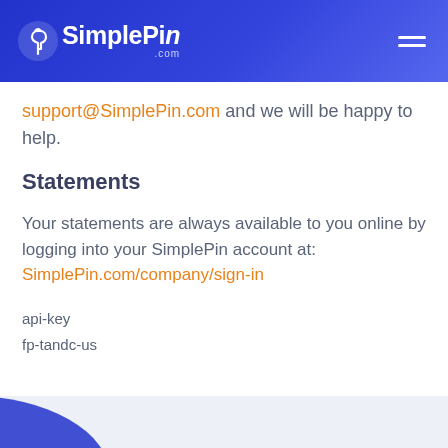SimplePIN.com
support@SimplePin.com and we will be happy to help.
Statements
Your statements are always available to you online by logging into your SimplePin account at: SimplePin.com/company/sign-in
api-key
fp-tandc-us